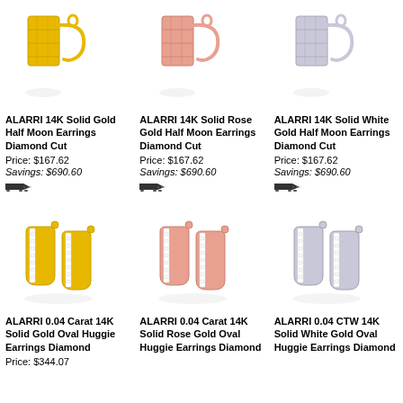[Figure (photo): ALARRI 14K Solid Gold Half Moon Earrings Diamond Cut - yellow gold earrings pair]
ALARRI 14K Solid Gold Half Moon Earrings Diamond Cut
Price: $167.62
Savings: $690.60
[Figure (photo): ALARRI 14K Solid Rose Gold Half Moon Earrings Diamond Cut - rose gold earrings pair]
ALARRI 14K Solid Rose Gold Half Moon Earrings Diamond Cut
Price: $167.62
Savings: $690.60
[Figure (photo): ALARRI 14K Solid White Gold Half Moon Earrings Diamond Cut - white gold earrings pair]
ALARRI 14K Solid White Gold Half Moon Earrings Diamond Cut
Price: $167.62
Savings: $690.60
[Figure (photo): ALARRI 0.04 Carat 14K Solid Gold Oval Huggie Earrings Diamond - yellow gold huggie earrings with diamonds]
ALARRI 0.04 Carat 14K Solid Gold Oval Huggie Earrings Diamond
Price: $344.07
[Figure (photo): ALARRI 0.04 Carat 14K Solid Rose Gold Oval Huggie Earrings Diamond - rose gold huggie earrings with diamonds]
ALARRI 0.04 Carat 14K Solid Rose Gold Oval Huggie Earrings Diamond
Price: listed below
[Figure (photo): ALARRI 0.04 CTW 14K Solid White Gold Oval Huggie Earrings Diamond - white gold huggie earrings with diamonds]
ALARRI 0.04 CTW 14K Solid White Gold Oval Huggie Earrings Diamond
Price: listed below